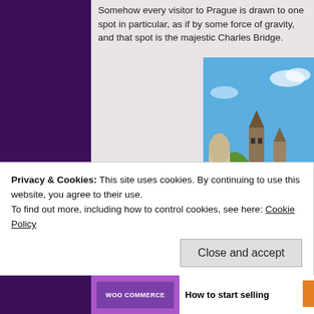Somehow every visitor to Prague is drawn to one spot in particular, as if by some force of gravity, and that spot is the majestic Charles Bridge.
[Figure (photo): Photograph of Charles Bridge in Prague, showing the Gothic bridge tower, arches over the Vltava River, green trees on Kampa Island, and domed church in the background under a clear blue sky.]
Privacy & Cookies: This site uses cookies. By continuing to use this website, you agree to their use.
To find out more, including how to control cookies, see here: Cookie Policy
Close and accept
How to start selling